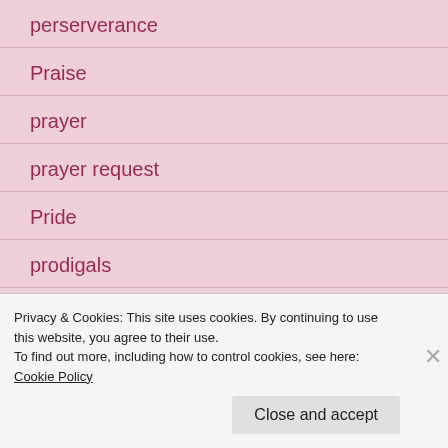perserverance
Praise
prayer
prayer request
Pride
prodigals
Privacy & Cookies: This site uses cookies. By continuing to use this website, you agree to their use.
To find out more, including how to control cookies, see here: Cookie Policy
Close and accept